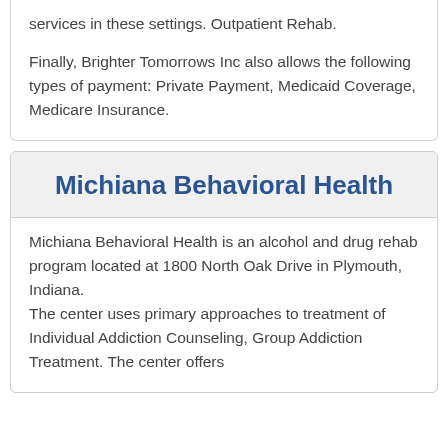services in these settings. Outpatient Rehab. Finally, Brighter Tomorrows Inc also allows the following types of payment: Private Payment, Medicaid Coverage, Medicare Insurance.
Michiana Behavioral Health
Michiana Behavioral Health is an alcohol and drug rehab program located at 1800 North Oak Drive in Plymouth, Indiana.
The center uses primary approaches to treatment of Individual Addiction Counseling, Group Addiction Treatment. The center offers